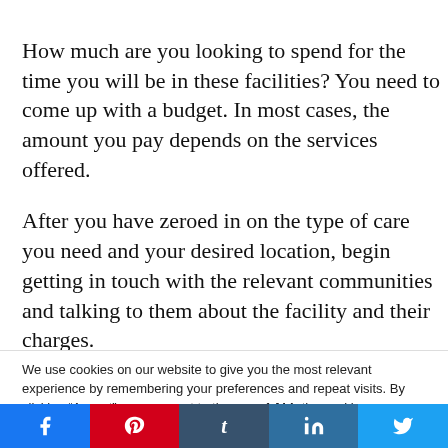How much are you looking to spend for the time you will be in these facilities? You need to come up with a budget. In most cases, the amount you pay depends on the services offered.
After you have zeroed in on the type of care you need and your desired location, begin getting in touch with the relevant communities and talking to them about the facility and their charges.
We use cookies on our website to give you the most relevant experience by remembering your preferences and repeat visits. By clicking “Accept”, you consent to the use of ALL the cookies.
Do not sell my personal information.